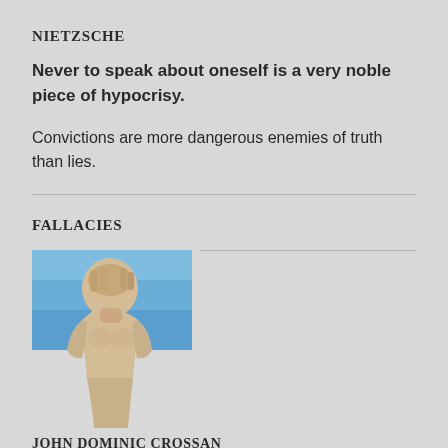NIETZSCHE
Never to speak about oneself is a very noble piece of hypocrisy.
Convictions are more dangerous enemies of truth than lies.
FALLACIES
[Figure (photo): A classical marble statue of a muscular male figure covering his face with one hand, set against a blue sky background.]
JOHN DOMINIC CROSSAN